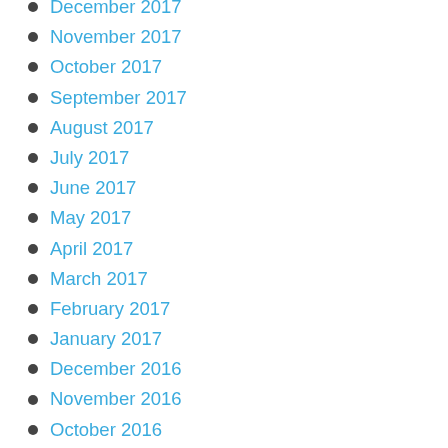December 2017
November 2017
October 2017
September 2017
August 2017
July 2017
June 2017
May 2017
April 2017
March 2017
February 2017
January 2017
December 2016
November 2016
October 2016
September 2016
August 2016